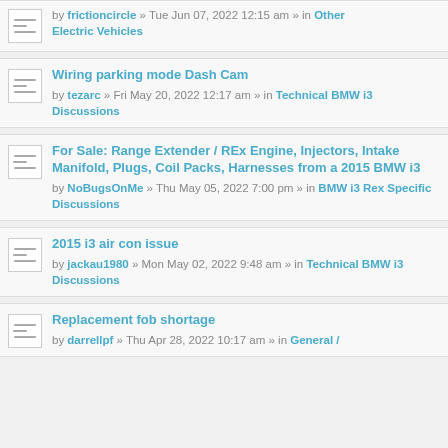by frictioncircle » Tue Jun 07, 2022 12:15 am » in Other Electric Vehicles
Wiring parking mode Dash Cam — by tezarc » Fri May 20, 2022 12:17 am » in Technical BMW i3 Discussions
For Sale: Range Extender / REx Engine, Injectors, Intake Manifold, Plugs, Coil Packs, Harnesses from a 2015 BMW i3 — by NoBugsOnMe » Thu May 05, 2022 7:00 pm » in BMW i3 Rex Specific Discussions
2015 i3 air con issue — by jackau1980 » Mon May 02, 2022 9:48 am » in Technical BMW i3 Discussions
Replacement fob shortage — by darrellpf » Thu Apr 28, 2022 10:17 am » in General /